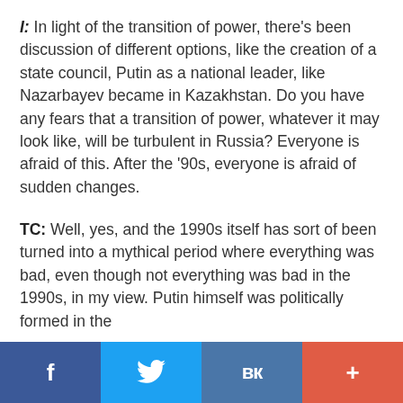I: In light of the transition of power, there's been discussion of different options, like the creation of a state council, Putin as a national leader, like Nazarbayev became in Kazakhstan. Do you have any fears that a transition of power, whatever it may look like, will be turbulent in Russia? Everyone is afraid of this. After the '90s, everyone is afraid of sudden changes.
TC: Well, yes, and the 1990s itself has sort of been turned into a mythical period where everything was bad, even though not everything was bad in the 1990s, in my view. Putin himself was politically formed in the
f  [Twitter]  VK  +